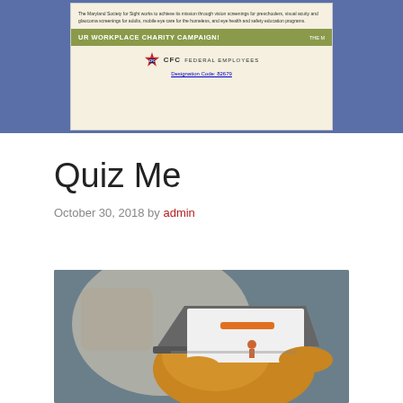[Figure (screenshot): Screenshot of a workplace charity campaign brochure for Maryland Society for Sight, showing CFC Federal Employees designation code 82679]
Quiz Me
October 30, 2018 by admin
[Figure (photo): Person sitting on a couch using a laptop computer, wearing a yellow/orange top]